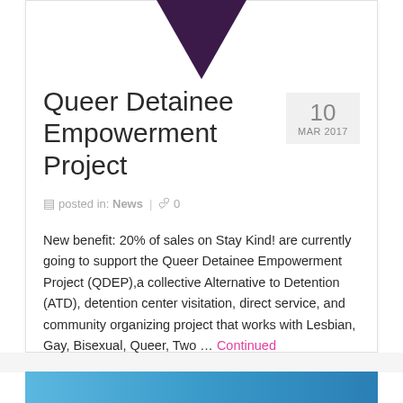[Figure (logo): Purple downward-pointing triangle logo at top of card]
Queer Detainee Empowerment Project
posted in: News | 0
New benefit: 20% of sales on Stay Kind! are currently going to support the Queer Detainee Empowerment Project (QDEP),a collective Alternative to Detention (ATD), detention center visitation, direct service, and community organizing project that works with Lesbian, Gay, Bisexual, Queer, Two … Continued
[Figure (photo): Blue/teal colored image strip visible at bottom of page]